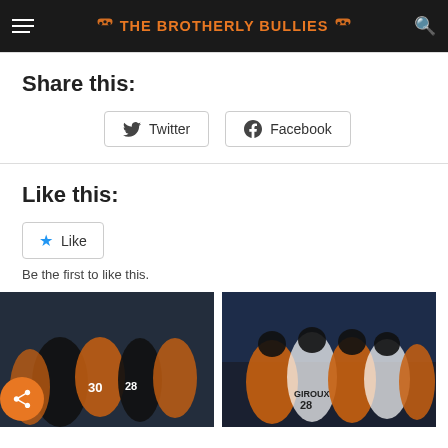THE BROTHERLY BULLIES
Share this:
Twitter  Facebook
Like this:
Like
Be the first to like this.
[Figure (photo): Two hockey team celebration photos showing Philadelphia Flyers players in orange and black jerseys]